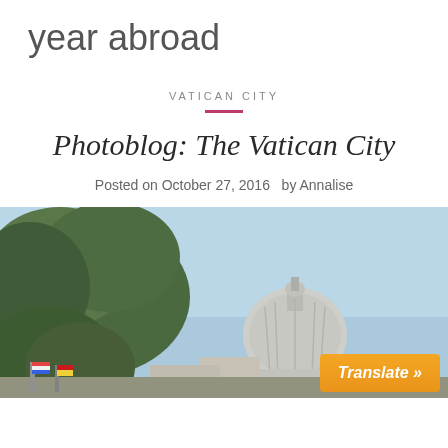year abroad
VATICAN CITY
Photoblog: The Vatican City
Posted on October 27, 2016  by Annalise
[Figure (photo): Outdoor photo showing St. Peter's Basilica dome in Vatican City under a clear blue sky, with large umbrella pine trees in the foreground and colorful flags at the bottom left. A 'Translate »' button overlay is visible in the bottom right corner.]